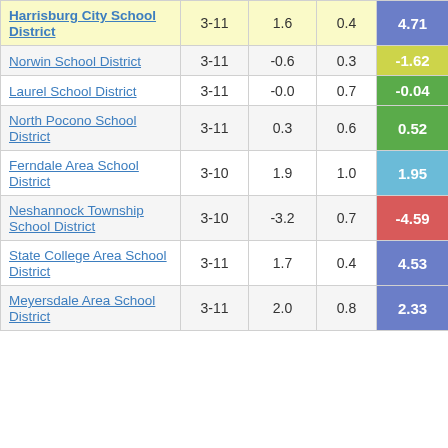| School District | Grades | Col3 | Col4 | Score |
| --- | --- | --- | --- | --- |
| Harrisburg City School District | 3-11 | 1.6 | 0.4 | 4.71 |
| Norwin School District | 3-11 | -0.6 | 0.3 | -1.62 |
| Laurel School District | 3-11 | -0.0 | 0.7 | -0.04 |
| North Pocono School District | 3-11 | 0.3 | 0.6 | 0.52 |
| Ferndale Area School District | 3-10 | 1.9 | 1.0 | 1.95 |
| Neshannock Township School District | 3-10 | -3.2 | 0.7 | -4.59 |
| State College Area School District | 3-11 | 1.7 | 0.4 | 4.53 |
| Meyersdale Area School District | 3-11 | 2.0 | 0.8 | 2.33 |